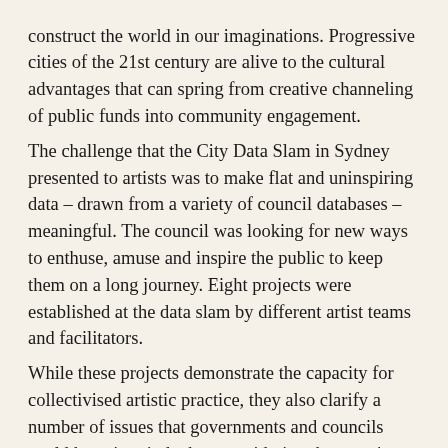construct the world in our imaginations. Progressive cities of the 21st century are alive to the cultural advantages that can spring from creative channeling of public funds into community engagement.
The challenge that the City Data Slam in Sydney presented to artists was to make flat and uninspiring data – drawn from a variety of council databases – meaningful. The council was looking for new ways to enthuse, amuse and inspire the public to keep them on a long journey. Eight projects were established at the data slam by different artist teams and facilitators.
While these projects demonstrate the capacity for collectivised artistic practice, they also clarify a number of issues that governments and councils could keep in mind when considering the question of system feedback. Ordinary infrastructure can become green infrastructure if it is designed for environmental intelligence reporting. Moreover, better community engagement can arise from consideration of the following 'data slam' findings: (i) vital data is often